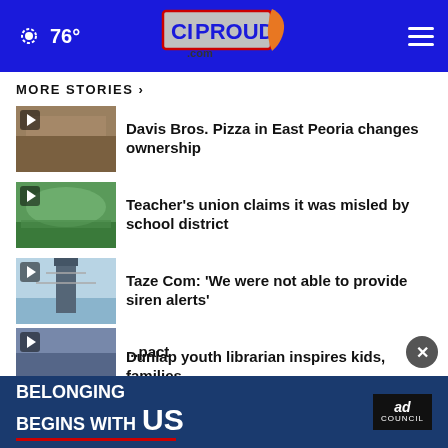76° CIProud.com
MORE STORIES >
Davis Bros. Pizza in East Peoria changes ownership
Teacher's union claims it was misled by school district
Taze Com: 'We were not able to provide siren alerts'
Dunlap youth librarian inspires kids, families
(partial) ...pact
[Figure (infographic): Ad banner: Belonging Begins With US, Ad Council logo]